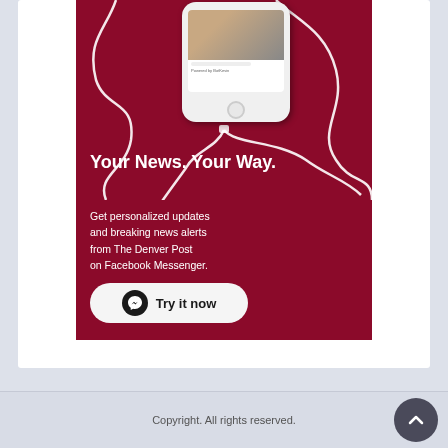[Figure (screenshot): Dark red advertisement panel for The Denver Post Facebook Messenger news alerts. Shows a white iPhone with earbuds tangled on a dark red background. Text reads 'Your News. Your Way.' with body text 'Get personalized updates and breaking news alerts from The Denver Post on Facebook Messenger.' and a 'Try it now' button with Facebook Messenger icon.]
Copyright. All rights reserved.